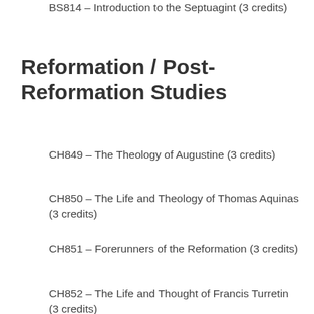BS814 – Introduction to the Septuagint (3 credits)
Reformation / Post-Reformation Studies
CH849 – The Theology of Augustine (3 credits)
CH850 – The Life and Theology of Thomas Aquinas (3 credits)
CH851 – Forerunners of the Reformation (3 credits)
CH852 – The Life and Thought of Francis Turretin (3 credits)